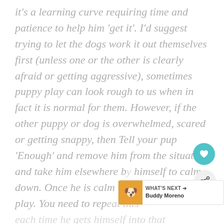it's a learning curve requiring time and patience to help him 'get it'. I'd suggest trying to let the dogs work it out themselves first (unless one or the other is clearly afraid or getting aggressive), sometimes puppy play can look rough to us when in fact it is normal for them. However, if the other puppy or dog is overwhelmed, scared or getting snappy, then Tell your pup 'Enough' and remove him from the situation and take him elsewhere by himself to calm down. Once he is calm he can go back to play. You need to repeat this each time he gets himself into that predicament, and over time he'll get it. He'll
[Figure (other): Teal circular heart/favorite button icon]
[Figure (other): Light gray circular share button icon]
[Figure (other): What's Next bar with dog avatar, showing 'WHAT'S NEXT ->' and 'Buddy Moreno']